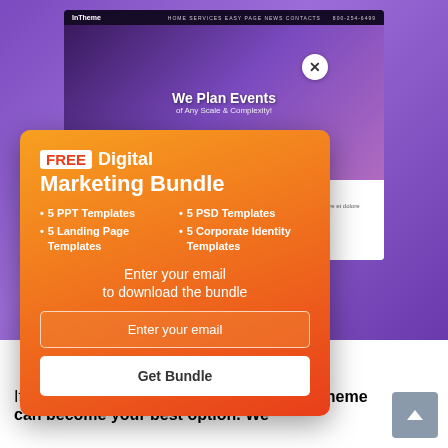[Figure (screenshot): Purple background with a website screenshot mockup showing 'We Plan Events of Any Scale & Complexity!' hero text on a dark purple background with flowers]
[Figure (infographic): Orange-to-red gradient popup modal offering 'FREE Digital Marketing Bundle' with list items: 5 PPT Templates, 5 Landing Page Templates, 5 PSD Templates, 5 Corporate Identity Templates. Contains email input field and 'Get Bundle' button. Close (X) button in top-right corner.]
If you are a designer or inner portfolio WordPress theme can become your best option. We